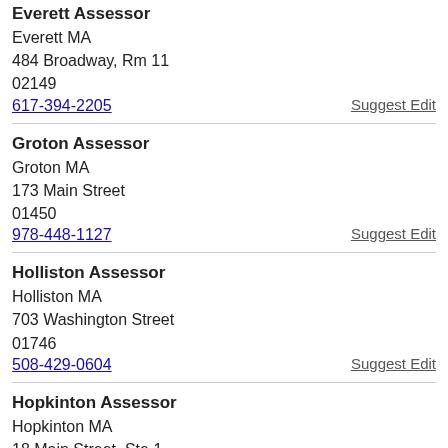Everett Assessor
Everett MA
484 Broadway, Rm 11
02149
617-394-2205
Suggest Edit
Groton Assessor
Groton MA
173 Main Street
01450
978-448-1127
Suggest Edit
Holliston Assessor
Holliston MA
703 Washington Street
01746
508-429-0604
Suggest Edit
Hopkinton Assessor
Hopkinton MA
18 Main Street, Ste 1